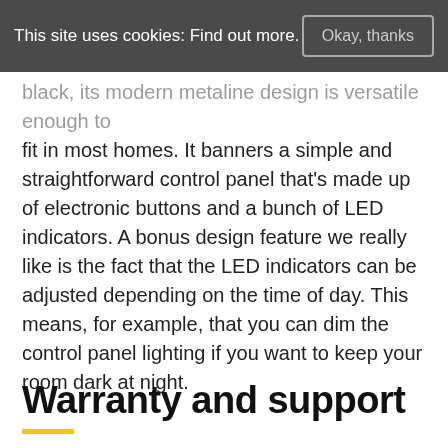This site uses cookies: Find out more.   Okay, thanks
black, its modern metaline design is versatile enough to fit in most homes. It banners a simple and straightforward control panel that's made up of electronic buttons and a bunch of LED indicators. A bonus design feature we really like is the fact that the LED indicators can be adjusted depending on the time of day. This means, for example, that you can dim the control panel lighting if you want to keep your room dark at night.
Warranty and support